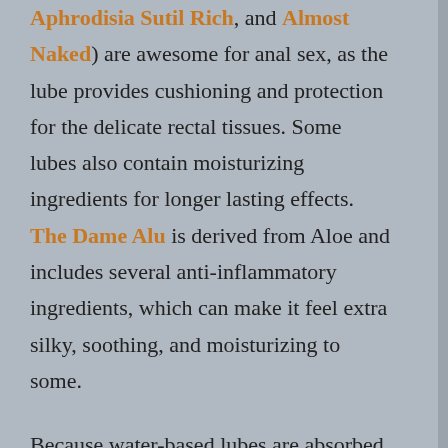Aphrodisia Sutil Rich, and Almost Naked) are awesome for anal sex, as the lube provides cushioning and protection for the delicate rectal tissues. Some lubes also contain moisturizing ingredients for longer lasting effects. The Dame Alu is derived from Aloe and includes several anti-inflammatory ingredients, which can make it feel extra silky, soothing, and moisturizing to some.
Because water-based lubes are absorbed into the skin and can evaporate, they may dry out during use — but they can be reactivated with water, or another dollop of extra lube. Also, water-based lubes are ineffective in the shower, bath, hot tub, etc. because they wash